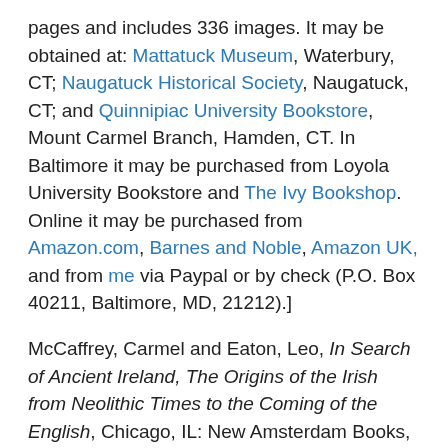pages and includes 336 images. It may be obtained at: Mattatuck Museum, Waterbury, CT; Naugatuck Historical Society, Naugatuck, CT; and Quinnipiac University Bookstore, Mount Carmel Branch, Hamden, CT. In Baltimore it may be purchased from Loyola University Bookstore and The Ivy Bookshop. Online it may be purchased from Amazon.com, Barnes and Noble, Amazon UK, and from me via Paypal or by check (P.O. Box 40211, Baltimore, MD, 21212).]
McCaffrey, Carmel and Eaton, Leo, In Search of Ancient Ireland, The Origins of the Irish from Neolithic Times to the Coming of the English, Chicago, IL: New Amsterdam Books, 2002.
O'Hart, John, Irish Pedigrees: or, The Origin and Stem of The Irish Nation, Fifth Edition in Two Volumes, Dublin,